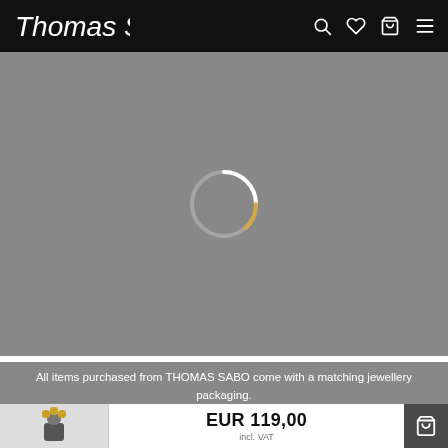Thomas Sabo
[Figure (other): Loading spinner circle on grey background — a thin white/gold circular spinner indicating content is loading]
All items purchased from THOMAS SABO come with a matching jewellery packaging.
(For Demonstration purpose only)
Please note our wearing instructions.
EUR 119,00